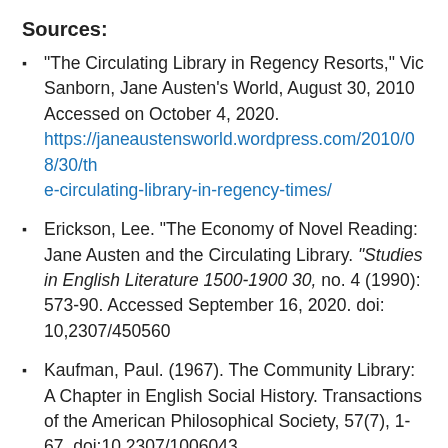Sources:
“The Circulating Library in Regency Resorts,” Vic Sanborn, Jane Austen’s World, August 30, 2010 Accessed on October 4, 2020. https://janeaustensworld.wordpress.com/2010/08/30/the-circulating-library-in-regency-times/
Erickson, Lee. “The Economy of Novel Reading: Jane Austen and the Circulating Library. “Studies in English Literature 1500-1900 30, no. 4 (1990): 573-90. Accessed September 16, 2020. doi: 10,2307/450560
Kaufman, Paul. (1967). The Community Library: A Chapter in English Social History. Transactions of the American Philosophical Society, 57(7), 1-67. doi:10.2307/1006043. https://www.jstor.org/stable/1006043&nbsp; Accessed